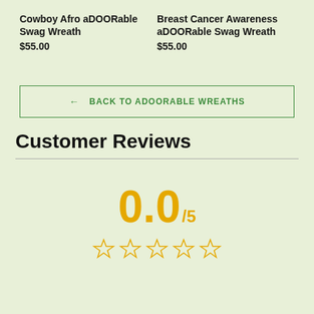Cowboy Afro aDOORable Swag Wreath
$55.00
Breast Cancer Awareness aDOORable Swag Wreath
$55.00
← BACK TO ADOORABLE WREATHS
Customer Reviews
0.0/5
[Figure (other): Five empty gold star rating icons]